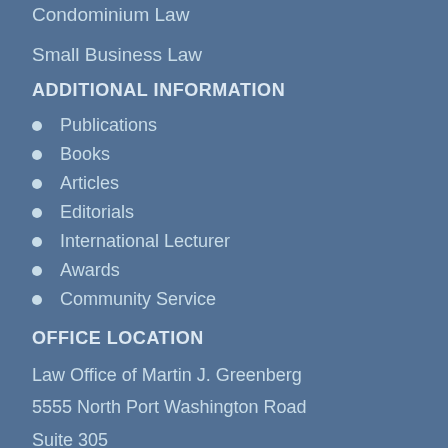Condominium Law
Small Business Law
ADDITIONAL INFORMATION
Publications
Books
Articles
Editorials
International Lecturer
Awards
Community Service
OFFICE LOCATION
Law Office of Martin J. Greenberg
5555 North Port Washington Road
Suite 305
Glendale, WI 53217